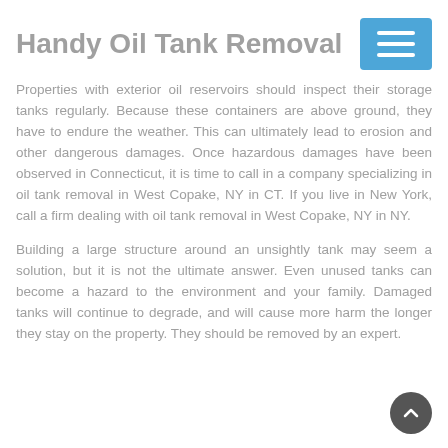Handy Oil Tank Removal
Properties with exterior oil reservoirs should inspect their storage tanks regularly. Because these containers are above ground, they have to endure the weather. This can ultimately lead to erosion and other dangerous damages. Once hazardous damages have been observed in Connecticut, it is time to call in a company specializing in oil tank removal in West Copake, NY in CT. If you live in New York, call a firm dealing with oil tank removal in West Copake, NY in NY.
Building a large structure around an unsightly tank may seem a solution, but it is not the ultimate answer. Even unused tanks can become a hazard to the environment and your family. Damaged tanks will continue to degrade, and will cause more harm the longer they stay on the property. They should be removed by an expert.